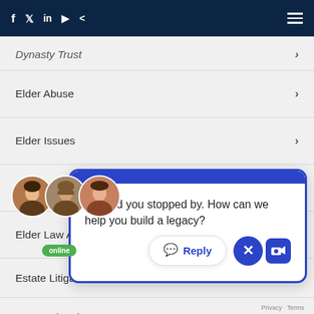Social media icons (Facebook, Twitter, LinkedIn, YouTube, Share) and hamburger menu
Dynasty Trust
Elder Abuse
Elder Issues
Elder Law
Elder Law Attorney
Estate Litigation
Estate Planning Attorney
[Figure (screenshot): Live chat widget overlay with agent avatars showing 'online' status badge, a blue-bordered speech bubble reading 'So glad you stopped by. How can we help you build a legacy?', a Reply button, a close (X) button, and a camera icon. Privacy · Terms footer.]